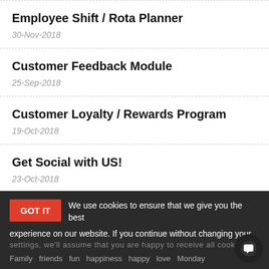Employee Shift / Rota Planner
30-Nov-2018
Customer Feedback Module
25-Sep-2018
Customer Loyalty / Rewards Program
19-Oct-2018
Get Social with US!
23-Oct-2018
GOT IT  We use cookies to ensure that we give you the best experience on our website. If you continue without changing your settings, we'll assume that you are happy to receive all cookies.
Family  friends  fun  happiness  happy  love  Monday